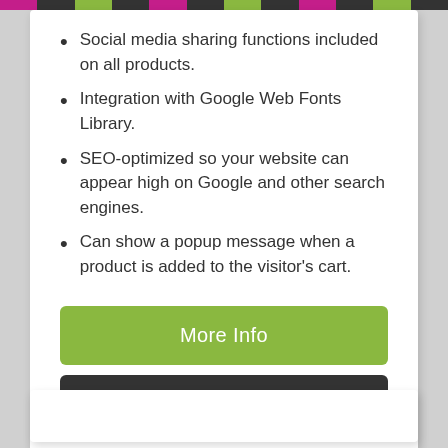Social media sharing functions included on all products.
Integration with Google Web Fonts Library.
SEO-optimized so your website can appear high on Google and other search engines.
Can show a popup message when a product is added to the visitor's cart.
More Info
POD